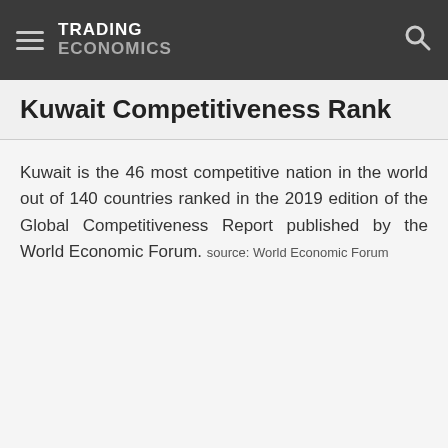TRADING ECONOMICS
Kuwait Competitiveness Rank
Kuwait is the 46 most competitive nation in the world out of 140 countries ranked in the 2019 edition of the Global Competitiveness Report published by the World Economic Forum. source: World Economic Forum